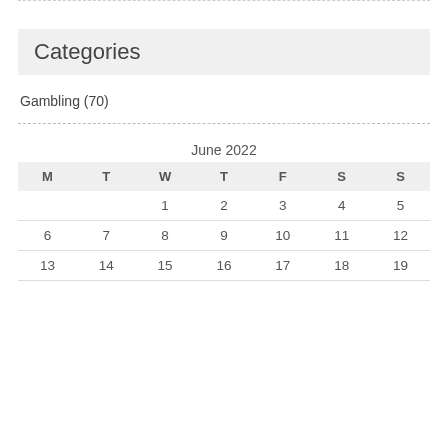Categories
Gambling (70)
| M | T | W | T | F | S | S |
| --- | --- | --- | --- | --- | --- | --- |
|  |  | 1 | 2 | 3 | 4 | 5 |
| 6 | 7 | 8 | 9 | 10 | 11 | 12 |
| 13 | 14 | 15 | 16 | 17 | 18 | 19 |